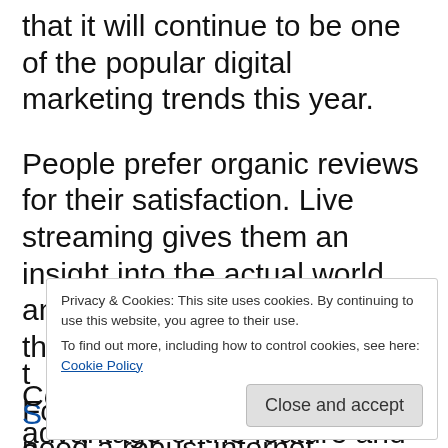that it will continue to be one of the popular digital marketing trends this year.
People prefer organic reviews for their satisfaction. Live streaming gives them an insight into the actual world and connects customers with the brands.
For live streaming, brands need a robust internet connection and a gadget. and t[partially visible] S[partially visible] s[partially visible]
Privacy & Cookies: This site uses cookies. By continuing to use this website, you agree to their use. To find out more, including how to control cookies, see here: Cookie Policy
Close and accept
Companies can take advantage of the feature and use it to enhance their